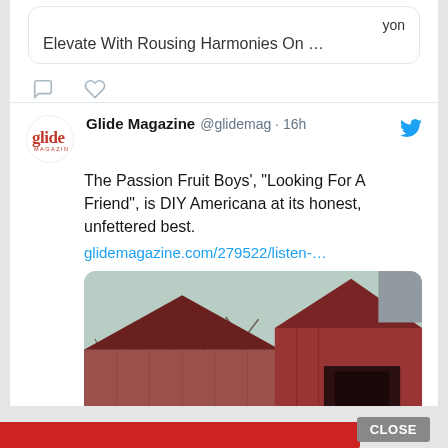yon
Elevate With Rousing Harmonies On …
[Figure (screenshot): Twitter/X tweet card from Glide Magazine (@glidemag) posted 16h ago. Text: The Passion Fruit Boys', "Looking For A Friend", is DIY Americana at its honest, unfettered best. Link: glidemagazine.com/279522/listen-… Image shows an old red barn with bare winter trees.]
CLOSE